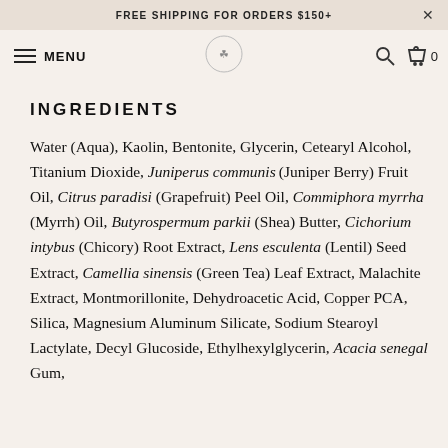FREE SHIPPING FOR ORDERS $150+
MENU
INGREDIENTS
Water (Aqua), Kaolin, Bentonite, Glycerin, Cetearyl Alcohol, Titanium Dioxide, Juniperus communis (Juniper Berry) Fruit Oil, Citrus paradisi (Grapefruit) Peel Oil, Commiphora myrrha (Myrrh) Oil, Butyrospermum parkii (Shea) Butter, Cichorium intybus (Chicory) Root Extract, Lens esculenta (Lentil) Seed Extract, Camellia sinensis (Green Tea) Leaf Extract, Malachite Extract, Montmorillonite, Dehydroacetic Acid, Copper PCA, Silica, Magnesium Aluminum Silicate, Sodium Stearoyl Lactylate, Decyl Glucoside, Ethylhexylglycerin, Acacia senegal Gum,